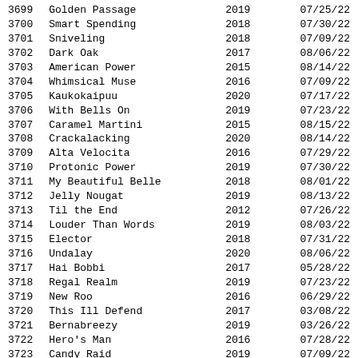| ID | Name | Year | Date |
| --- | --- | --- | --- |
| 3699 | Golden Passage | 2019 | 07/25/22 |
| 3700 | Smart Spending | 2018 | 07/30/22 |
| 3701 | Sniveling | 2018 | 07/09/22 |
| 3702 | Dark Oak | 2017 | 08/06/22 |
| 3703 | American Power | 2015 | 08/14/22 |
| 3704 | Whimsical Muse | 2016 | 07/09/22 |
| 3705 | Kaukokaipuu | 2020 | 07/17/22 |
| 3706 | With Bells On | 2019 | 07/23/22 |
| 3707 | Caramel Martini | 2015 | 08/15/22 |
| 3708 | Crackalacking | 2020 | 08/14/22 |
| 3709 | Alta Velocita | 2016 | 07/29/22 |
| 3710 | Protonic Power | 2019 | 07/30/22 |
| 3711 | My Beautiful Belle | 2018 | 08/01/22 |
| 3712 | Jelly Nougat | 2019 | 08/13/22 |
| 3713 | Til the End | 2012 | 07/26/22 |
| 3714 | Louder Than Words | 2019 | 08/03/22 |
| 3715 | Elector | 2018 | 07/31/22 |
| 3716 | Undalay | 2020 | 08/06/22 |
| 3717 | Hai Bobbi | 2017 | 05/28/22 |
| 3718 | Regal Realm | 2019 | 07/23/22 |
| 3719 | New Roo | 2016 | 06/29/22 |
| 3720 | This Ill Defend | 2017 | 03/08/22 |
| 3721 | Bernabreezy | 2019 | 03/26/22 |
| 3722 | Hero's Man | 2016 | 07/28/22 |
| 3723 | Candy Raid | 2019 | 07/09/22 |
| 3724 | Centurion | 2017 | 08/15/22 |
| 3725 | Commander Khai | 2018 | 07/03/22 |
| 3726 | Moody Woman | 2019 | 08/06/22 |
| 3727 | Flashndynamite | 2015 | 08/04/22 |
| 3728 | Iconic Adventure | 2019 | 02/26/22 |